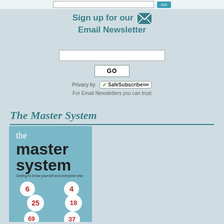Sign up for our Email Newsletter
[Figure (screenshot): Email newsletter signup form with input field, GO button, SafeSubscribe privacy badge, and trust text]
The Master System
[Figure (photo): Book cover of 'the master system - Getting to know yourself and everyone else' with numbers 6, 25, 69, 4, 18, 37 on white circles held by hands, on a blue background]